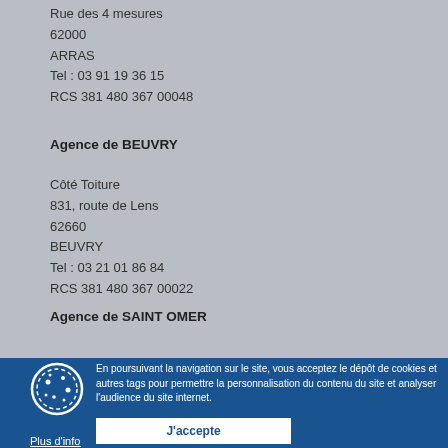Rue des 4 mesures
62000
ARRAS
Tel : 03 91 19 36 15
RCS 381 480 367 00048
Agence de BEUVRY
Côté Toiture
831, route de Lens
62660
BEUVRY
Tel : 03 21 01 86 84
RCS 381 480 367 00022
Agence de SAINT OMER
Côté Toiture
(address partially hidden)
En poursuivant la navigation sur le site, vous acceptez le dépôt de cookies et autres tags pour permettre la personnalisation du contenu du site et analyser l'audience du site internet.
J'accepte
Plus d'info